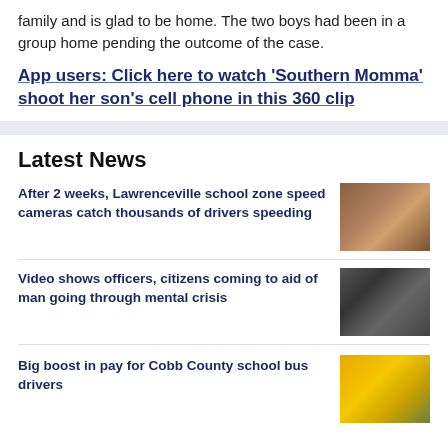family and is glad to be home.  The two boys had been in a group home pending the outcome of the case.
App users: Click here to watch 'Southern Momma' shoot her son's cell phone in this 360 clip
Latest News
After 2 weeks, Lawrenceville school zone speed cameras catch thousands of drivers speeding
Video shows officers, citizens coming to aid of man going through mental crisis
Big boost in pay for Cobb County school bus drivers